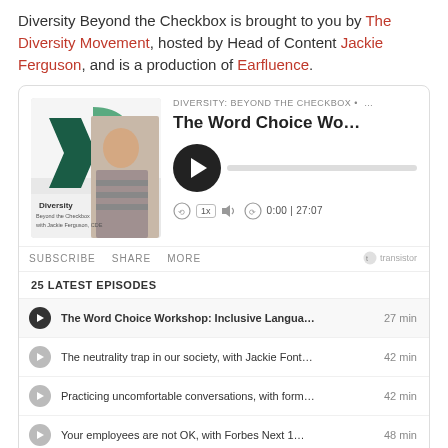Diversity Beyond the Checkbox is brought to you by The Diversity Movement, hosted by Head of Content Jackie Ferguson, and is a production of Earfluence.
[Figure (screenshot): Embedded podcast player widget showing 'Diversity: Beyond the Checkbox' podcast episode 'The Word Choice Wo...' with play button, progress bar, time display 0:00|27:07, subscribe/share/more controls, and a list of 5 latest episodes: 'The Word Choice Workshop: Inclusive Langua...' 27 min, 'The neutrality trap in our society, with Jackie Font...' 42 min, 'Practicing uncomfortable conversations, with form...' 42 min, 'Your employees are not OK, with Forbes Next 1...' 48 min, 'In the News: Wells Fargo diversity policy face...' 40 min]
The Word Choice Workshop: Inclusive Langua... 27 min
The neutrality trap in our society, with Jackie Font... 42 min
Practicing uncomfortable conversations, with form... 42 min
Your employees are not OK, with Forbes Next 1... 48 min
In the News: Wells Fargo diversity policy face... 40 min